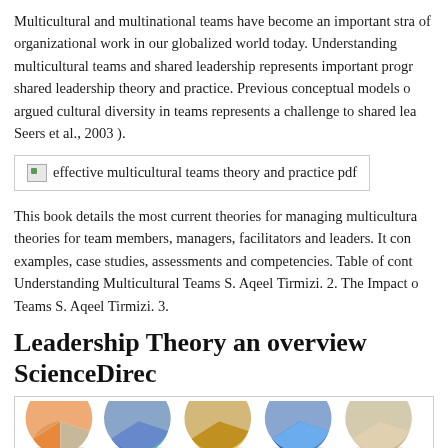Multicultural and multinational teams have become an important stra of organizational work in our globalized world today. Understanding multicultural teams and shared leadership represents important progr shared leadership theory and practice. Previous conceptual models o argued cultural diversity in teams represents a challenge to shared lea Seers et al., 2003 ).
[Figure (other): Broken image placeholder with alt text: effective multicultural teams theory and practice pdf]
This book details the most current theories for managing multicultura theories for team members, managers, facilitators and leaders. It con examples, case studies, assessments and competencies. Table of cont Understanding Multicultural Teams S. Aqeel Tirmizi. 2. The Impact o Teams S. Aqeel Tirmizi. 3.
Leadership Theory an overview ScienceDirec
[Figure (other): Partial view of pie charts at the bottom of the page, showing colorful pie chart segments in orange, blue/teal, gold/yellow, blue, and light colors]